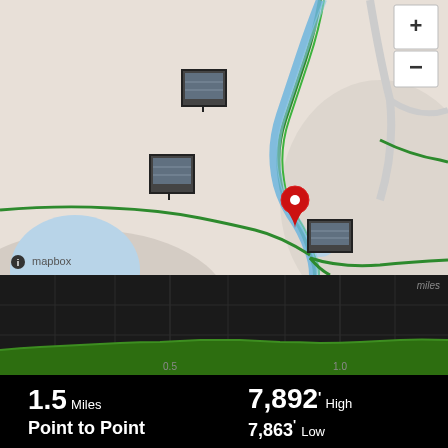[Figure (map): Mapbox map showing a route with a red location pin, green trail lines, blue river/road, photo thumbnails along the route, zoom controls (+/-) in top right, layer switcher button, scale bar showing 1000 ft, and mapbox attribution in bottom left.]
[Figure (area-chart): Elevation profile chart showing mostly flat terrain with slight undulation. X-axis shows distance in miles with markers at 0.5 and 1.0. Y-axis unlabeled. 'miles' label in top right corner. Green filled area on dark background.]
1.5 Miles
7,892' High
Point to Point
7,863' Low